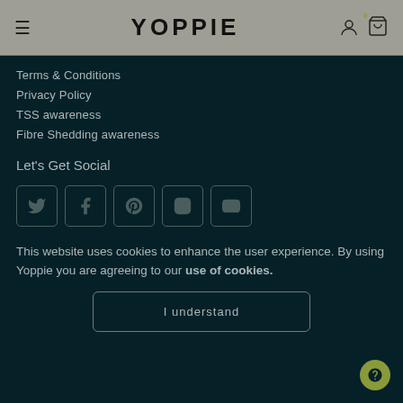YOPPIE
Terms & Conditions
Privacy Policy
TSS awareness
Fibre Shedding awareness
Let's Get Social
[Figure (illustration): Social media icons: Twitter, Facebook, Pinterest, Instagram, YouTube]
This website uses cookies to enhance the user experience. By using Yoppie you are agreeing to our use of cookies.
I understand